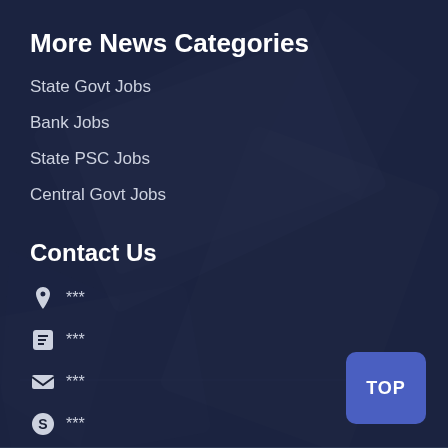More News Categories
State Govt Jobs
Bank Jobs
State PSC Jobs
Central Govt Jobs
Contact Us
📍 ***
📞 ***
✉ ***
S ***